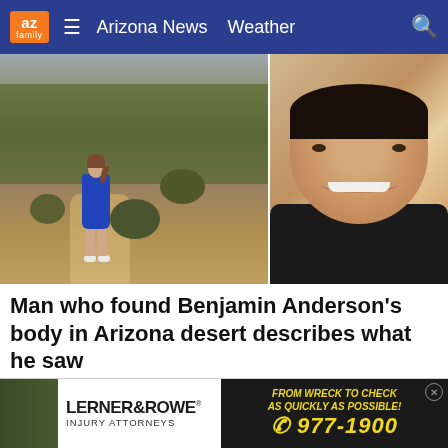az family | Arizona News  Weather
[Figure (photo): Two photos side by side: left shows a woman in a blue dress standing in an Arizona desert landscape with scrub brush; right shows a close-up portrait of a smiling man (Benjamin Anderson) wearing a dark shirt.]
Man who found Benjamin Anderson's body in Arizona desert describes what he saw
The man who found Benjamin Anderson's body and called 911 went back to the Arizona desert where he made the …
AZ Family
[Figure (photo): Advertisement for Lerner & Rowe Injury Attorneys. Text: FROM WRECK TO CHECK AS QUICKLY AS POSSIBLE! (602) 977-1900. Left side shows a green background with partial outdoor scene.]